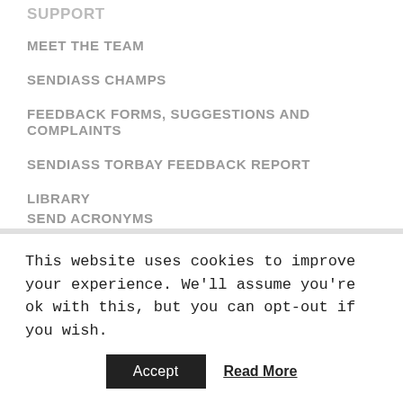SUPPORT
MEET THE TEAM
SENDIASS CHAMPS
FEEDBACK FORMS, SUGGESTIONS AND COMPLAINTS
SENDIASS TORBAY FEEDBACK REPORT
LIBRARY
SEND ACRONYMS
SEND MYTHS BUSTER
This website uses cookies to improve your experience. We'll assume you're ok with this, but you can opt-out if you wish.
Accept | Read More